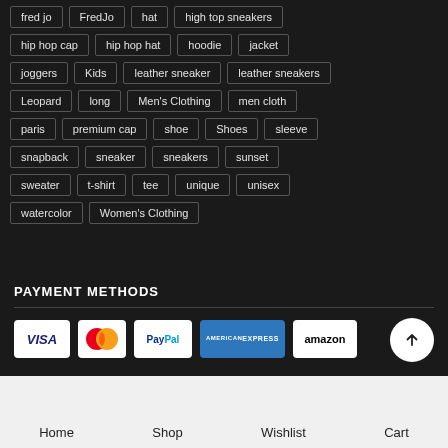fred jo | FredJo | hat | high top sneakers
hip hop cap | hip hop hat | hoodie | jacket
joggers | Kids | leather sneaker | leather sneakers
Leopard | long | Men's Clothing | men cloth
paris | premium cap | shoe | Shoes | sleeve
snapback | sneaker | sneakers | sunset
sweater | t-shirt | tee | unique | unisex
watercolor | Women's Clothing
PAYMENT METHODS
[Figure (other): Payment method logos: Visa, Mastercard, PayPal, American Express, Amazon]
Home | Shop | Wishlist | Cart